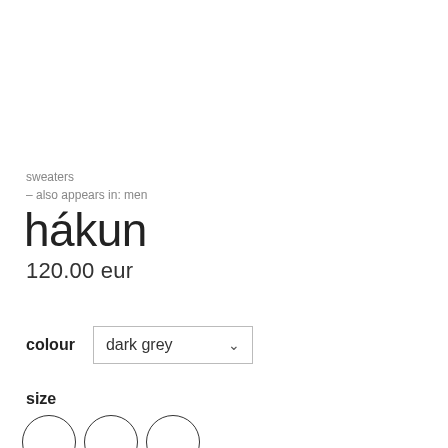sweaters
– also appears in: men
hákun
120.00 eur
colour   dark grey
size